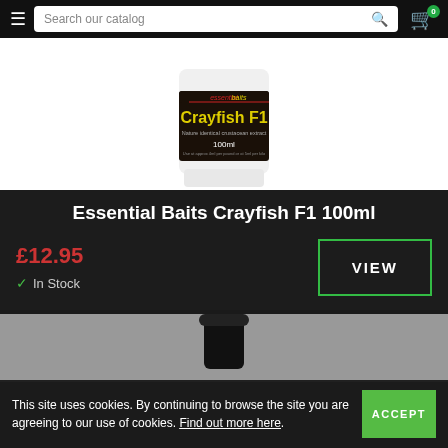Search our catalog
[Figure (photo): Essential Baits Crayfish F1 100ml product bottle with dark label on white background]
Essential Baits Crayfish F1 100ml
£12.95
✓ In Stock
VIEW
[Figure (photo): Partial view of another Essential Baits product bottle]
This site uses cookies. By continuing to browse the site you are agreeing to our use of cookies. Find out more here.
ACCEPT